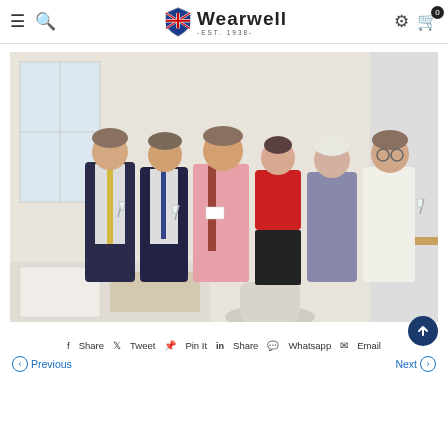Wearwell - EST. 1938-
[Figure (photo): Group photo of six people (four men and two women) standing together in an office or conference room, holding glasses and smiling. The room has white walls, a window in the background, and a table with papers in the foreground.]
Share  Tweet  Pin It  Share  Whatsapp  Email
Previous   Next